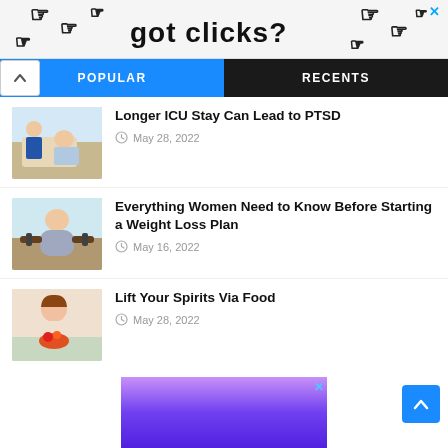[Figure (screenshot): Advertisement banner with pointing hand cursor icons and text 'got clicks?' on white background with an X close button]
POPULAR | RECENTS
[Figure (photo): Healthcare worker attending to elderly patient in hospital bed]
Longer ICU Stay Can Lead to PTSD
May 28, 2022
[Figure (photo): Overweight woman exercising with dumbbells in kitchen]
Everything Women Need to Know Before Starting a Weight Loss Plan
May 16, 2022
[Figure (photo): Young woman eating fruit and smiling]
Lift Your Spirits Via Food
May 28, 2022
[Figure (screenshot): Advertisement banner with purple/violet gradient background and X close button]